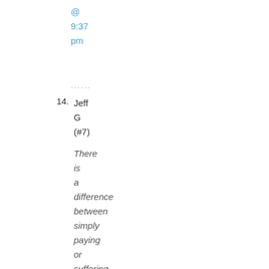@ 9:37 pm
......
14. Jeff G (#7)

There is a difference between simply paying or suffering for one's own sins and actually repenting of them. Thu...